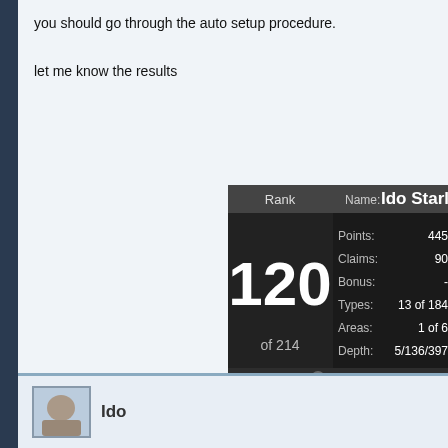you should go through the auto setup procedure.

let me know the results
[Figure (screenshot): Game stats screenshot showing Rank 120 of 214, Name: Ido Starlit Su..., Points: 445, Claims: 90, Bonus: -, Types: 13 of 184, Areas: 1 of 6, Depth: 5/136/397, Last 30 days: 269, 75. Sizes row at bottom.]
KrupT
Re: Radar stopped working mid-way through a run , please explain ?
October 05, 2017 03:17PM
already uninstalled and reinstalled LBML and setup again , it doesnt w how is in guide , but it wont have the radar in green anymore , again li mining run , so it WAS set up correctly , it just decided to stop working
Ido